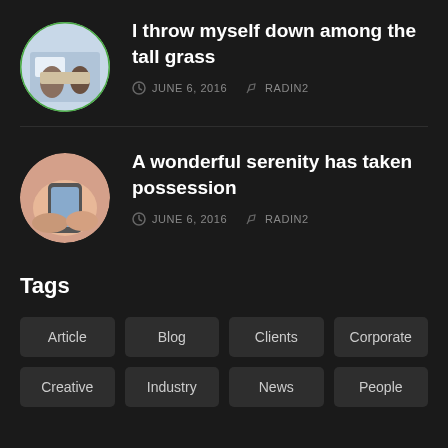I throw myself down among the tall grass
JUNE 6, 2016  RADIN2
A wonderful serenity has taken possession
JUNE 6, 2016  RADIN2
Tags
Article
Blog
Clients
Corporate
Creative
Industry
News
People